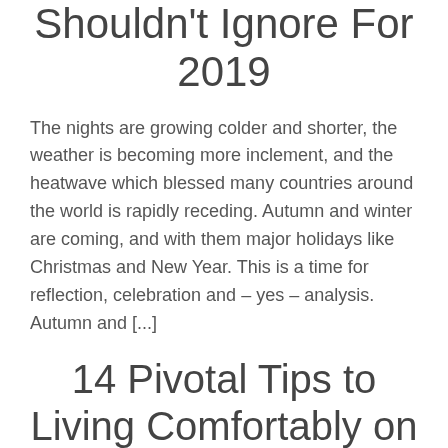Shouldn't Ignore For 2019
The nights are growing colder and shorter, the weather is becoming more inclement, and the heatwave which blessed many countries around the world is rapidly receding. Autumn and winter are coming, and with them major holidays like Christmas and New Year. This is a time for reflection, celebration and – yes – analysis. Autumn and [...]
14 Pivotal Tips to Living Comfortably on a Tight Budget